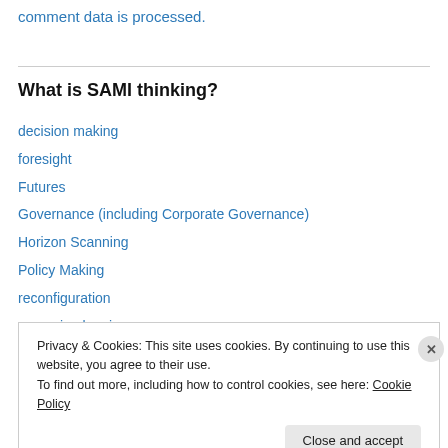comment data is processed.
What is SAMI thinking?
decision making
foresight
Futures
Governance (including Corporate Governance)
Horizon Scanning
Policy Making
reconfiguration
scenario planning
Privacy & Cookies: This site uses cookies. By continuing to use this website, you agree to their use. To find out more, including how to control cookies, see here: Cookie Policy
Close and accept